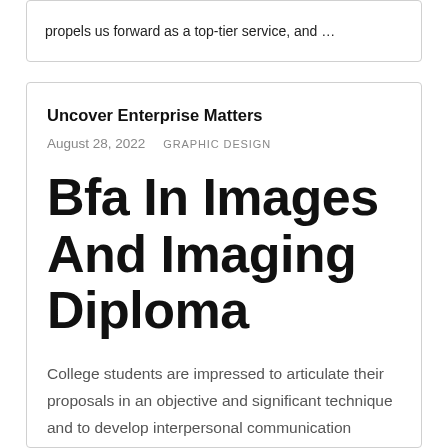propels us forward as a top-tier service, and …
Uncover Enterprise Matters
August 28, 2022   GRAPHIC DESIGN
Bfa In Images And Imaging Diploma
College students are impressed to articulate their proposals in an objective and significant technique and to develop interpersonal communication experience which can be important to an skilled photographer. The scholar will increasingly develop a